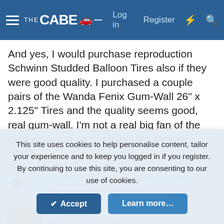THE CABE | Log in | Register
And yes, I would purchase reproduction Schwinn Studded Balloon Tires also if they were good quality. I purchased a couple pairs of the Wanda Fenix Gum-Wall 26" x 2.125" Tires and the quality seems good, real gum-wall. I'm not a real big fan of the gum-walls but on the right bike they look good.
Schwinn1776, 1motime, RustyHornet and 1 other person
Jorgesk8erdie
This site uses cookies to help personalise content, tailor your experience and to keep you logged in if you register. By continuing to use this site, you are consenting to our use of cookies.